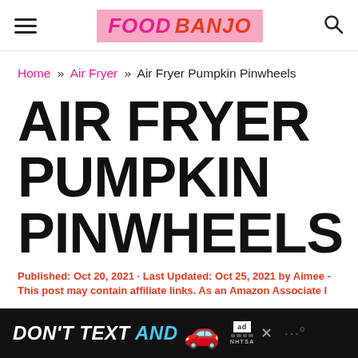FOOD BANJO
Home » Air Fryer » Air Fryer Pumpkin Pinwheels
AIR FRYER PUMPKIN PINWHEELS
Published: Oct 20, 2021 · Last Updated: Oct 25, 2021 by Aimee - This post may contain affiliate links. As an Amazon Associate I
[Figure (other): Advertisement banner: DON'T TEXT AND [car emoji] with NHTSA logo and ad label]